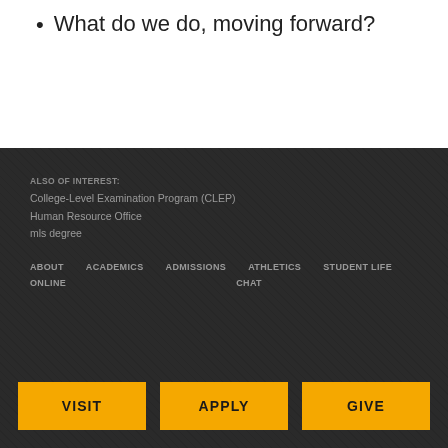What do we do, moving forward?
ALSO OF INTEREST:
College-Level Examination Program (CLEP)
Human Resource Office
mls degree
ABOUT   ACADEMICS   ADMISSIONS   ATHLETICS   STUDENT LIFE
   ONLINE                        CHAT
VISIT   APPLY   GIVE